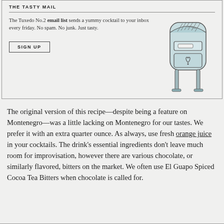THE TASTY MAIL
The Tuxedo No.2 email list sends a yummy cocktail to your inbox every friday. No spam. No junk. Just tasty.
[Figure (illustration): Illustration of a vintage-style mailbox with open compartments and a heart symbol on the door.]
SIGN UP
The original version of this recipe—despite being a feature on Montenegro—was a little lacking on Montenegro for our tastes. We prefer it with an extra quarter ounce. As always, use fresh orange juice in your cocktails. The drink's essential ingredients don't leave much room for improvisation, however there are various chocolate, or similarly flavored, bitters on the market. We often use El Guapo Spiced Cocoa Tea Bitters when chocolate is called for.